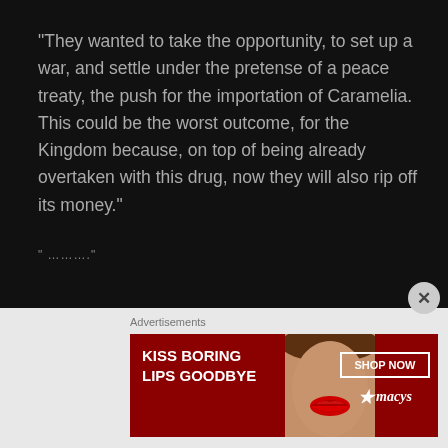“They wanted to take the opportunity, to set up a war, and settle under the pretense of a peace treaty, the push for the importation of Caramelia. This could be the worst outcome, for the Kingdom because, on top of being already overtaken with this drug, now they will also rip off its money.”
“……………”
[Figure (screenshot): Advertisement banner for Macy's lipstick: 'KISS BORING LIPS GOODBYE' with SHOP NOW button and Macy's logo, featuring a woman's face with red lips]